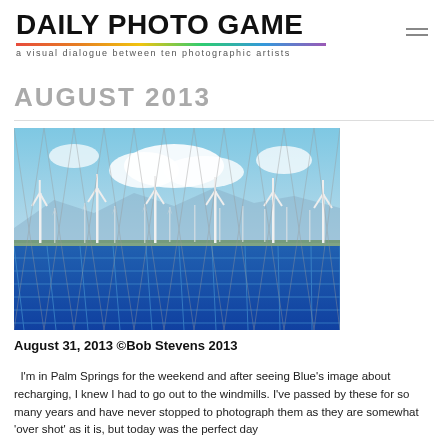DAILY PHOTO GAME
a visual dialogue between ten photographic artists
AUGUST 2013
[Figure (photo): Wind turbines viewed through chain-link fence with solar panels in foreground, against blue sky with clouds. Composite photograph by Bob Stevens.]
August 31, 2013 ©Bob Stevens 2013
I'm in Palm Springs for the weekend and after seeing Blue's image about recharging, I knew I had to go out to the windmills. I've passed by these for so many years and have never stopped to photograph them as they are somewhat 'over shot' as it is, but today was the perfect day